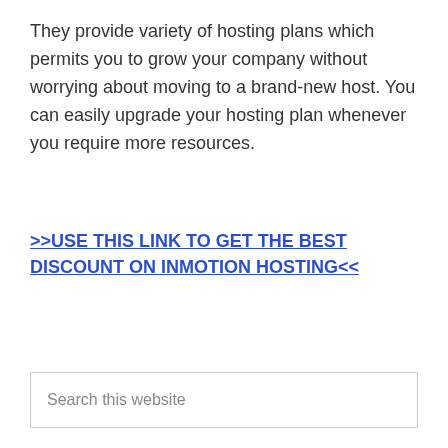They provide variety of hosting plans which permits you to grow your company without worrying about moving to a brand-new host. You can easily upgrade your hosting plan whenever you require more resources.
>>USE THIS LINK TO GET THE BEST DISCOUNT ON INMOTION HOSTING<<
Search this website